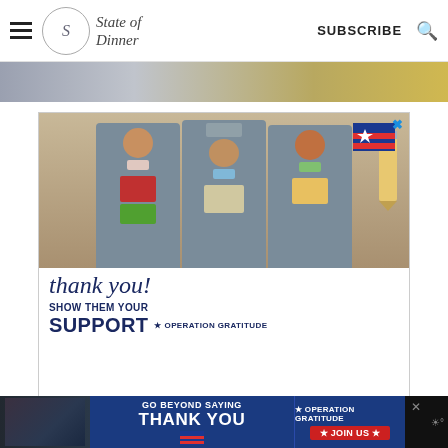State of Dinner — SUBSCRIBE
[Figure (photo): Partial banner image at top of page showing fabric/gold decorative background]
[Figure (photo): Advertisement: Three healthcare workers in scrubs and masks holding thank-you cards. Text reads 'thank you! SHOW THEM YOUR SUPPORT OPERATION GRATITUDE']
[Figure (photo): Bottom banner ad: GO BEYOND SAYING THANK YOU — OPERATION GRATITUDE JOIN US]